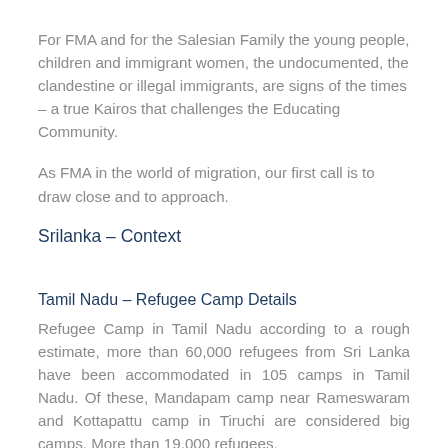For FMA and for the Salesian Family the young people, children and immigrant women, the undocumented, the clandestine or illegal immigrants, are signs of the times – a true Kairos that challenges the Educating Community.
As FMA in the world of migration, our first call is to draw close and to approach.
Srilanka – Context
Tamil Nadu – Refugee Camp Details
Refugee Camp in Tamil Nadu according to a rough estimate, more than 60,000 refugees from Sri Lanka have been accommodated in 105 camps in Tamil Nadu. Of these, Mandapam camp near Rameswaram and Kottapattu camp in Tiruchi are considered big camps. More than 19,000 refugees,